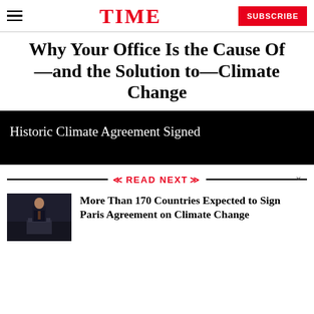TIME  SUBSCRIBE
Why Your Office Is the Cause Of—and the Solution to—Climate Change
Historic Climate Agreement Signed
READ NEXT
[Figure (photo): Black and white photo of a man in a suit standing at a podium or lectern in what appears to be a government or formal setting.]
More Than 170 Countries Expected to Sign Paris Agreement on Climate Change